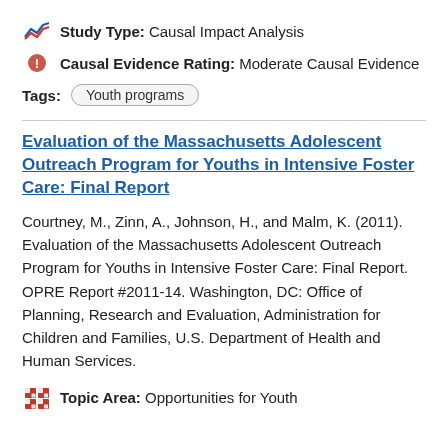Study Type: Causal Impact Analysis
Causal Evidence Rating: Moderate Causal Evidence
Tags: Youth programs
Evaluation of the Massachusetts Adolescent Outreach Program for Youths in Intensive Foster Care: Final Report
Courtney, M., Zinn, A., Johnson, H., and Malm, K. (2011). Evaluation of the Massachusetts Adolescent Outreach Program for Youths in Intensive Foster Care: Final Report. OPRE Report #2011-14. Washington, DC: Office of Planning, Research and Evaluation, Administration for Children and Families, U.S. Department of Health and Human Services.
Topic Area: Opportunities for Youth